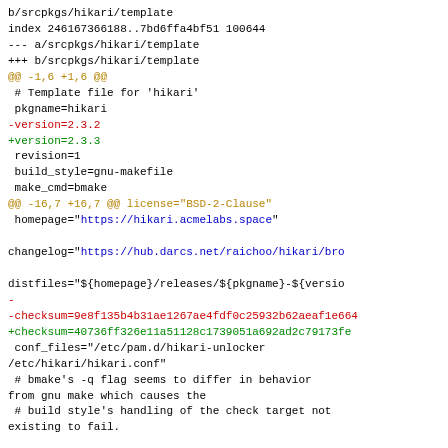b/srcpkgs/hikari/template
index 246167366188..7bd6ffa4bf51 100644
--- a/srcpkgs/hikari/template
+++ b/srcpkgs/hikari/template
@@ -1,6 +1,6 @@
 # Template file for 'hikari'
 pkgname=hikari
-version=2.3.2
+version=2.3.3
 revision=1
 build_style=gnu-makefile
 make_cmd=bmake
@@ -16,7 +16,7 @@ license="BSD-2-Clause"
 homepage="https://hikari.acmelabs.space"

changelog="https://hub.darcs.net/raichoo/hikari/bro

distfiles="${homepage}/releases/${pkgname}-${versio
-
-checksum=9e8f135b4b31ae1267ae4fdf0c25932b62aeaf1e664
+checksum=40736ff326e11a51128c1739051a692ad2c79173fe
 conf_files="/etc/pam.d/hikari-unlocker
/etc/hikari/hikari.conf"
 # bmake's -q flag seems to differ in behavior
from gnu make which causes the
 # build style's handling of the check target not
existing to fail.

^ permalink raw reply   [flat|nested] 38+ messages
in thread